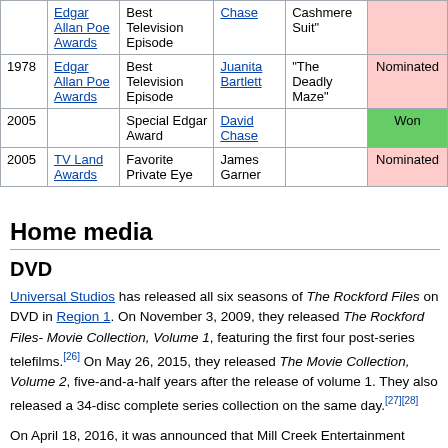| Year | Award | Category | Nominee | Film/Episode | Result |
| --- | --- | --- | --- | --- | --- |
|  | Edgar Allan Poe Awards | Best Television Episode | Chase | Cashmere Suit" | Nominated |
| 1978 | Edgar Allan Poe Awards | Best Television Episode | Juanita Bartlett | "The Deadly Maze" | Nominated |
| 2005 |  | Special Edgar Award | David Chase |  | Won |
| 2005 | TV Land Awards | Favorite Private Eye | James Garner |  | Nominated |
Home media
DVD
Universal Studios has released all six seasons of The Rockford Files on DVD in Region 1. On November 3, 2009, they released The Rockford Files- Movie Collection, Volume 1, featuring the first four post-series telefilms.[26] On May 26, 2015, they released The Movie Collection, Volume 2, five-and-a-half years after the release of volume 1. They also released a 34-disc complete series collection on the same day.[27][28]
On April 18, 2016, it was announced that Mill Creek Entertainment